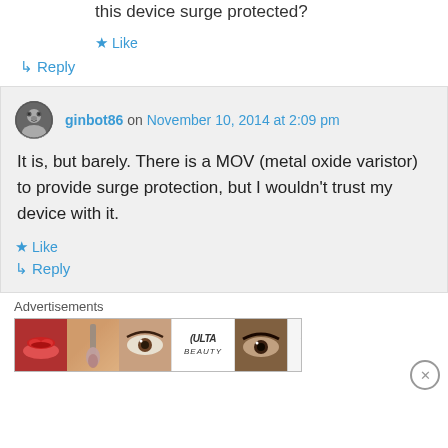this device surge protected?
★ Like
↳ Reply
ginbot86 on November 10, 2014 at 2:09 pm
It is, but barely. There is a MOV (metal oxide varistor) to provide surge protection, but I wouldn't trust my device with it.
★ Like
↳ Reply
Advertisements
[Figure (photo): Ulta Beauty advertisement banner showing makeup products and close-up beauty shots with 'SHOP NOW' text]